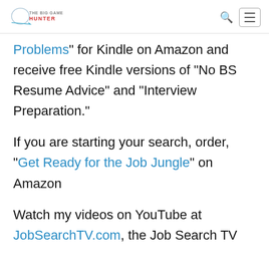The Big Game Hunter [logo] [search icon] [menu button]
Problems” for Kindle on Amazon and receive free Kindle versions of “No BS Resume Advice” and “Interview Preparation.”
If you are starting your search, order, “Get Ready for the Job Jungle” on Amazon
Watch my videos on YouTube at JobSearchTV.com, the Job Search TV